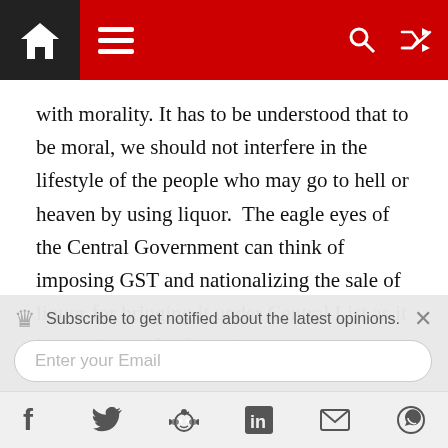Navigation bar with home, menu, search, and shuffle icons
with morality. It has to be understood that to be moral, we should not interfere in the lifestyle of the people who may go to hell or heaven by using liquor.  The eagle eyes of the Central Government can think of imposing GST and nationalizing the sale of liquor for bringing it under Central List as it is a cash cow for financing.
A consumer (of liquor) as a hero of economics is always interested in liquor with the statutory warning and all those who pollute the relationship are called villains in the…
Subscribe to get notified about the latest opinions.
Social share icons: Facebook, Twitter, Reddit, LinkedIn, Email, WhatsApp